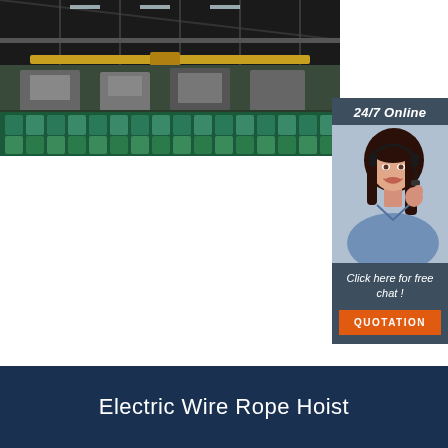[Figure (photo): Industrial factory interior showing overhead crane beam, roof trusses, and rows of green products/coils on the floor]
[Figure (infographic): 24/7 Online chat widget showing a female customer service agent wearing a headset, with text 'Click here for free chat!' and an orange QUOTATION button]
Electric Wire Rope Hoist